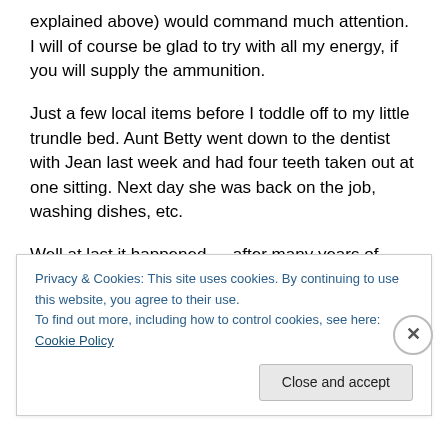explained above) would command much attention. I will of course be glad to try with all my energy, if you will supply the ammunition.
Just a few local items before I toddle off to my little trundle bed. Aunt Betty went down to the dentist with Jean last week and had four teeth taken out at one sitting. Next day she was back on the job, washing dishes, etc.
Well at last it happened — after many years of faithful service — more than I know — the old furnace has gone kaput. Last Sunday Lad and I started to drain air out of the
Privacy & Cookies: This site uses cookies. By continuing to use this website, you agree to their use.
To find out more, including how to control cookies, see here: Cookie Policy